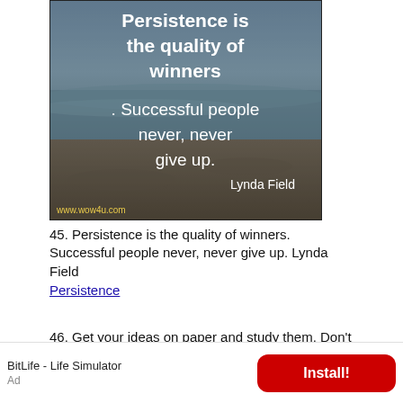[Figure (photo): Beach/ocean background photo with white text overlay: 'Persistence is the quality of winners. Successful people never, never give up. Lynda Field' and watermark 'www.wow4u.com']
45. Persistence is the quality of winners. Successful people never, never give up. Lynda Field
Persistence
46. Get your ideas on paper and study them. Don't let them go to waste! Les Brown
Quotes about Ideas
BitLife - Life Simulator
Ad
Install!